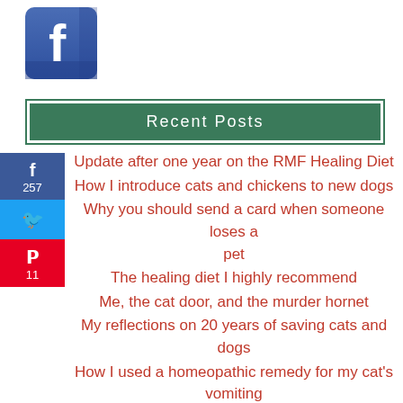[Figure (logo): Facebook logo icon — white 'f' on blue square background]
Recent Posts
Update after one year on the RMF Healing Diet
How I introduce cats and chickens to new dogs
Why you should send a card when someone loses a pet
The healing diet I highly recommend
Me, the cat door, and the murder hornet
My reflections on 20 years of saving cats and dogs
How I used a homeopathic remedy for my cat's vomiting
A frozen pond, a pet tragedy, and what I learned